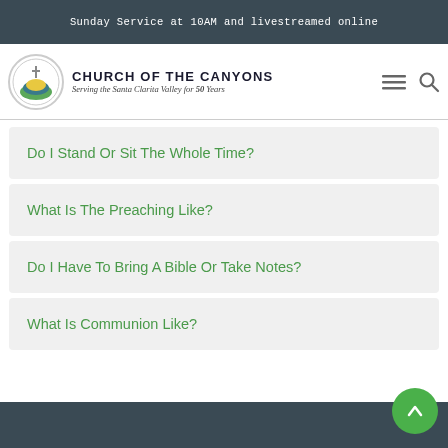Sunday Service at 10AM and livestreamed online
[Figure (logo): Church of the Canyons logo with mountain and cross icon in circular frame]
CHURCH OF THE CANYONS
Serving the Santa Clarita Valley for 50 Years
Do I Stand Or Sit The Whole Time?
What Is The Preaching Like?
Do I Have To Bring A Bible Or Take Notes?
What Is Communion Like?